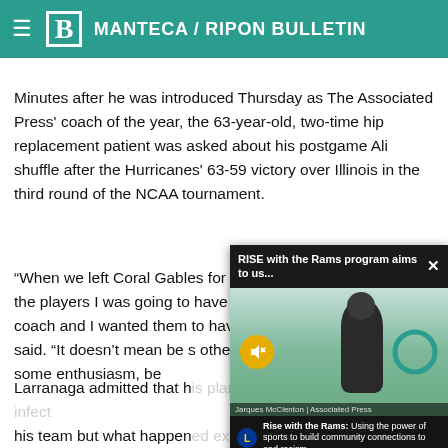Manteca / Ripon Bulletin
Minutes after he was introduced Thursday as The Associated Press' coach of the year, the 63-year-old, two-time hip replacement patient was asked about his postgame Ali shuffle after the Hurricanes' 63-59 victory over Illinois in the third round of the NCAA tournament.
“When we left Coral Gables for the NCAA tournament I told the players I was going to have more fun than any other coach and I wanted them to have more … said. “It doesn’t mean be s… other’s company, when we… have some enthusiasm, be…
[Figure (screenshot): Video overlay popup titled 'RISE with the Rams program aims to us...' showing a man in a suit standing outside, with a mute button and Rams logo, and caption 'Rise with the Rams: Using the power of sports to build community connections to end racism']
Larranaga admitted that h… his team but what happen…